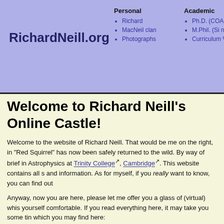RichardNeill.org
Personal: Richard, MacNeil clan, Photographs | Academic: Ph.D. (COAST), M.Phil. (Si nanowires), Curriculum Vitae | T...
Welcome to Richard Neill's Online Castle!
Welcome to the website of Richard Neill. That would be me on the right, in... "Red Squirrel" has now been safely returned to the wild. By way of brief in... Astrophysics at Trinity College, Cambridge. This website contains all s... and information. As for myself, if you really want to know, you can find out
Anyway, now you are here, please let me offer you a glass of (virtual) whis... yourself comfortable. If you read everything here, it may take you some tin... which you may find here:
Resources. This is technical information, principally computer code howtos. There are also some computer programs here: GNUs will b...
Opinions. These are my thoughts and views about questions which... thought about them, I think some of them are worth sharing. Of cou...